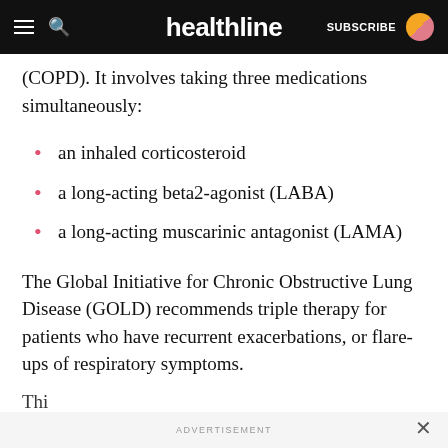healthline — SUBSCRIBE
(COPD). It involves taking three medications simultaneously:
an inhaled corticosteroid
a long-acting beta2-agonist (LABA)
a long-acting muscarinic antagonist (LAMA)
The Global Initiative for Chronic Obstructive Lung Disease (GOLD) recommends triple therapy for patients who have recurrent exacerbations, or flare-ups of respiratory symptoms.
Thi...
ADVERTISEMENT